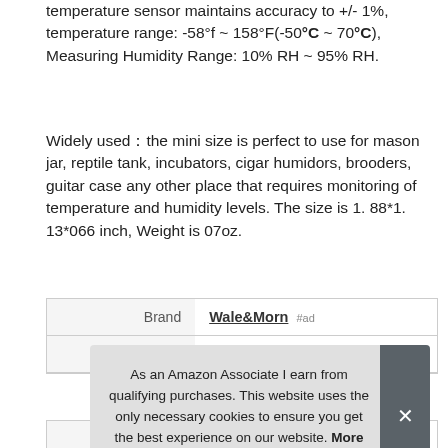temperature sensor maintains accuracy to +/- 1%, temperature range: -58°f ~ 158°F（-50°C ~ 70°C）, Measuring Humidity Range: 10% RH ~ 95% RH.
Widely used：the mini size is perfect to use for mason jar, reptile tank, incubators, cigar humidors, brooders, guitar case any other place that requires monitoring of temperature and humidity levels. The size is 1. 88*1. 13*066 inch, Weight is 07oz.
|  |  |
| --- | --- |
| Brand | Wale&Morn #ad |
| Manufacturer | Wale&Morn #ad |
| Width | 1.18 Inches |
As an Amazon Associate I earn from qualifying purchases. This website uses the only necessary cookies to ensure you get the best experience on our website. More information